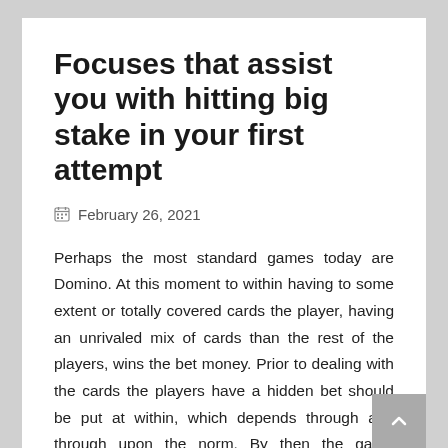Focuses that assist you with hitting big stake in your first attempt
February 26, 2021
Perhaps the most standard games today are Domino. At this moment to within having to some extent or totally covered cards the player, having an unrivaled mix of cards than the rest of the players, wins the bet money. Prior to dealing with the cards the players have a hidden bet should be put at within, which depends through and through upon the norm. By then the game beginnings You may not play any pit game yet in case you do, by then you should keep up a compelled